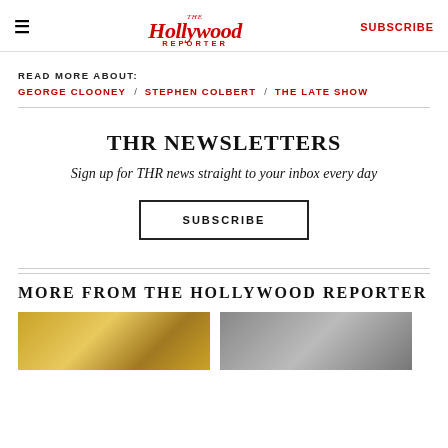The Hollywood Reporter — SUBSCRIBE
READ MORE ABOUT:
GEORGE CLOONEY / STEPHEN COLBERT / THE LATE SHOW
THR NEWSLETTERS
Sign up for THR news straight to your inbox every day
SUBSCRIBE
MORE FROM THE HOLLYWOOD REPORTER
[Figure (photo): Gold award statuettes photo thumbnail]
[Figure (photo): Person photo thumbnail]